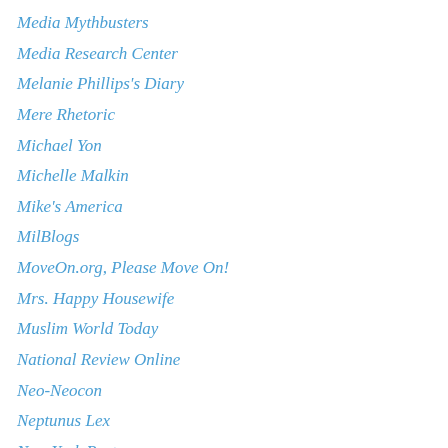Media Mythbusters
Media Research Center
Melanie Phillips's Diary
Mere Rhetoric
Michael Yon
Michelle Malkin
Mike's America
MilBlogs
MoveOn.org, Please Move On!
Mrs. Happy Housewife
Muslim World Today
National Review Online
Neo-Neocon
Neptunus Lex
New York Post
News Snipet 'Blog
NewsBusters
NewsLinks
Newsvine
Noisy Room